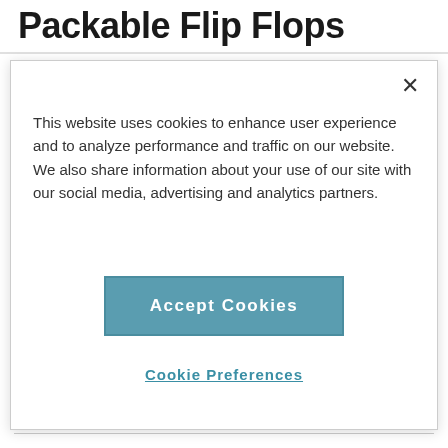Packable Flip Flops
This website uses cookies to enhance user experience and to analyze performance and traffic on our website. We also share information about your use of our site with our social media, advertising and analytics partners.
Accept Cookies
Cookie Preferences
CHRISTINE SARKIS